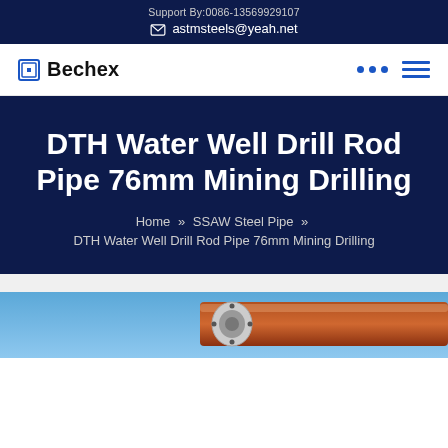Support By:0086-13569929107
astmsteels@yeah.net
Bechex
DTH Water Well Drill Rod Pipe 76mm Mining Drilling
Home » SSAW Steel Pipe » DTH Water Well Drill Rod Pipe 76mm Mining Drilling
[Figure (photo): Partial view of steel drill pipe or tube with flange fitting, photographed against a blue sky background.]